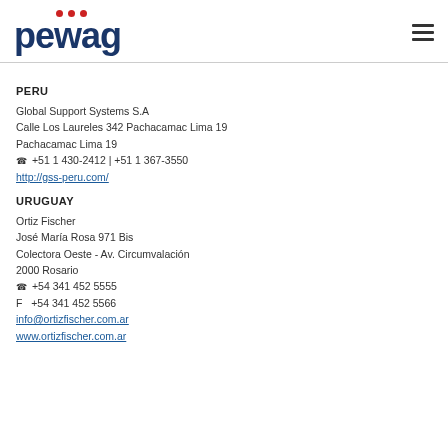[Figure (logo): pewag company logo with three red dots above the letters 'wag' and a hamburger menu icon on the right]
PERU
Global Support Systems S.A
Calle Los Laureles 342 Pachacamac Lima 19
Pachacamac Lima 19
☎ +51 1 430-2412 | +51 1 367-3550
http://gss-peru.com/
URUGUAY
Ortiz Fischer
José María Rosa 971 Bis
Colectora Oeste - Av. Circumvalación
2000 Rosario
☎ +54 341 452 5555
F  +54 341 452 5566
info@ortizfischer.com.ar
www.ortizfischer.com.ar